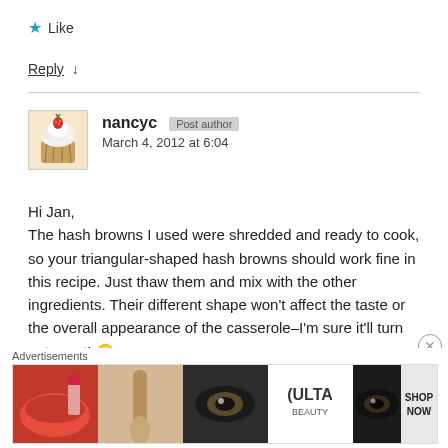★ Like
Reply ↓
[Figure (photo): Avatar photo of a cupcake with a strawberry]
nancyc [Post author] March 4, 2012 at 6:04
Hi Jan,
The hash browns I used were shredded and ready to cook, so your triangular-shaped hash browns should work fine in this recipe. Just thaw them and mix with the other ingredients. Their different shape won't affect the taste or the overall appearance of the casserole–I'm sure it'll turn out great! 🙂
[Figure (photo): Ulta beauty advertisement banner showing makeup and eyes]
Advertisements